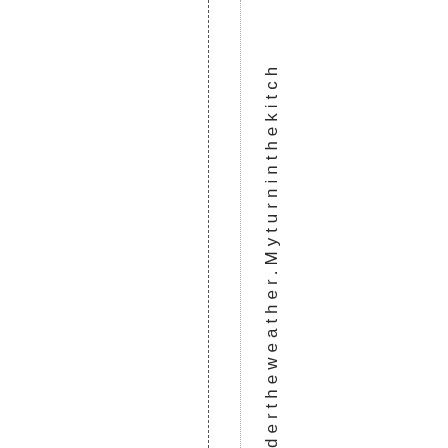dertheweather.Myturninthekitch